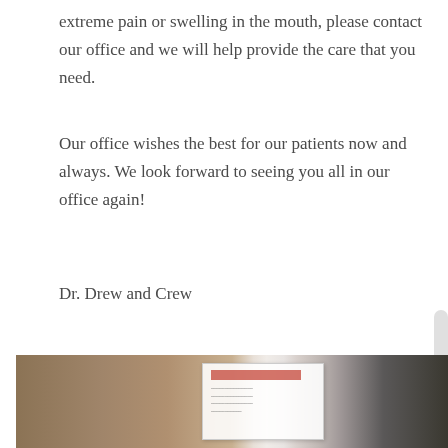extreme pain or swelling in the mouth, please contact our office and we will help provide the care that you need.
Our office wishes the best for our patients now and always. We look forward to seeing you all in our office again!
Dr. Drew and Crew
[Figure (photo): A blurred photo of what appears to be a dental office or medical setting, showing a blurred background with warm brown/tan tones and a white card or sign visible in the center-right area.]